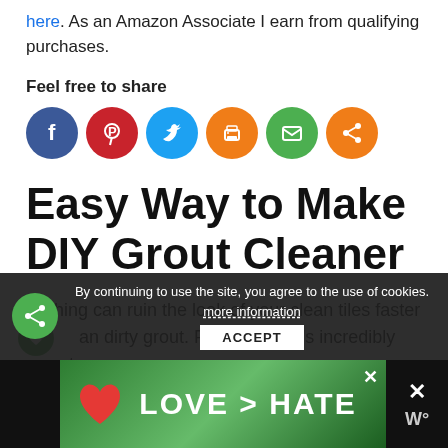here. As an Amazon Associate I earn from qualifying purchases.
Feel free to share
[Figure (other): Row of social share icon circles: Facebook (blue), Pinterest (red), Twitter (blue), Print (orange), Email (green), Share (orange)]
Easy Way to Make DIY Grout Cleaner
Nothing can ruin the look of your clean tiles faster than dirty grout. Fortunately, it's incredibly easy to keep your grout naturally clean when you make this DIY grout cleaner.
By continuing to use the site, you agree to the use of cookies. more information
[Figure (other): Advertisement banner reading LOVE > HATE with hands forming a heart shape]